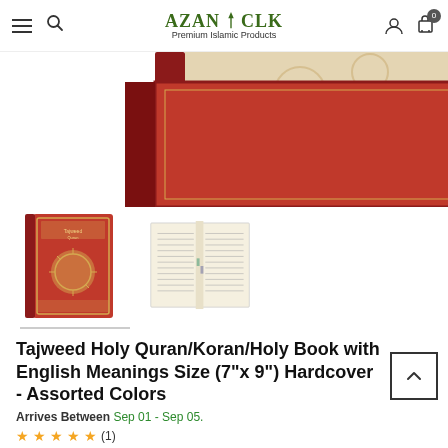AZAN CLK - Premium Islamic Products
[Figure (photo): Top view of a red hardcover Tajweed Quran book with decorative floral pattern, shown at an angle]
[Figure (photo): Thumbnail 1: Front cover of Tajweed Quran in red with gold sun/medallion design]
[Figure (photo): Thumbnail 2: Open pages of the Tajweed Quran showing Arabic text]
Tajweed Holy Quran/Koran/Holy Book with English Meanings Size (7"x 9") Hardcover - Assorted Colors
Arrives Between Sep 01 - Sep 05.
★★★★★ (1)